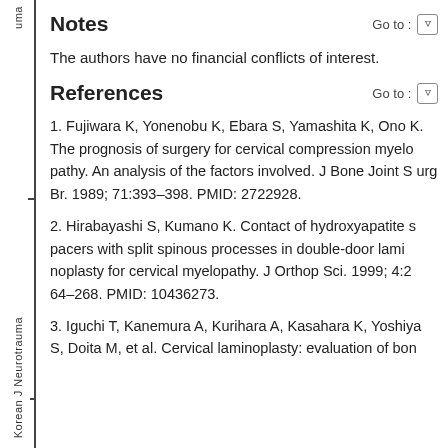uma
Notes
The authors have no financial conflicts of interest.
References
1. Fujiwara K, Yonenobu K, Ebara S, Yamashita K, Ono K. The prognosis of surgery for cervical compression myelopathy. An analysis of the factors involved. J Bone Joint Surg Br. 1989; 71:393–398. PMID: 2722928.
2. Hirabayashi S, Kumano K. Contact of hydroxyapatite spacers with split spinous processes in double-door laminoplasty for cervical myelopathy. J Orthop Sci. 1999; 4:264–268. PMID: 10436273.
3. Iguchi T, Kanemura A, Kurihara A, Kasahara K, Yoshiya S, Doita M, et al. Cervical laminoplasty: evaluation of bon
Korean J Neurotrauma